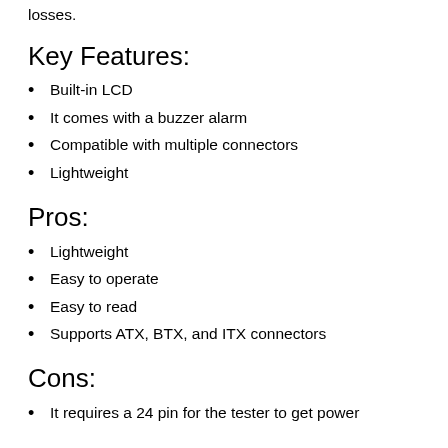losses.
Key Features:
Built-in LCD
It comes with a buzzer alarm
Compatible with multiple connectors
Lightweight
Pros:
Lightweight
Easy to operate
Easy to read
Supports ATX, BTX, and ITX connectors
Cons:
It requires a 24 pin for the tester to get power